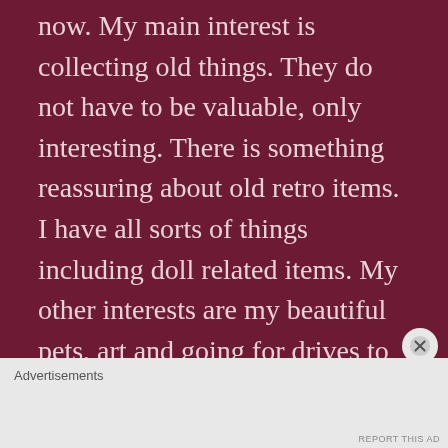now. My main interest is collecting old things. They do not have to be valuable, only interesting. There is something reassuring about old retro items. I have all sorts of things including doll related items. My other interests are my beautiful pets, art and going for drives to who knows where. I also enjoy board games or doing a scenic jig saw puzzle on a wintry afternoon by the fire. My goal is to travel a bit more as there are
Advertisements